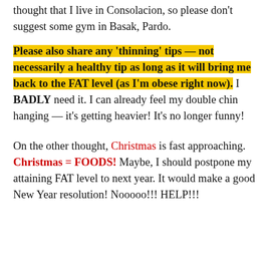thought that I live in Consolacion, so please don't suggest some gym in Basak, Pardo.
Please also share any 'thinning' tips — not necessarily a healthy tip as long as it will bring me back to the FAT level (as I'm obese right now). I BADLY need it. I can already feel my double chin hanging — it's getting heavier! It's no longer funny!
On the other thought, Christmas is fast approaching. Christmas = FOODS! Maybe, I should postpone my attaining FAT level to next year. It would make a good New Year resolution! Nooooo!!! HELP!!!